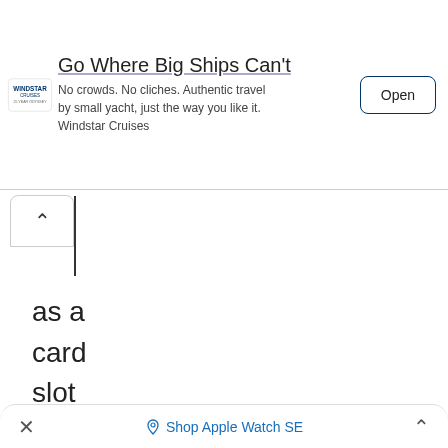[Figure (screenshot): Windstar Cruises advertisement banner with logo, headline 'Go Where Big Ships Can't', body text, and Open button]
as a card slot supporting up to 128 GB, and 2 GB of RAM
× Shop Apple Watch SE ∧